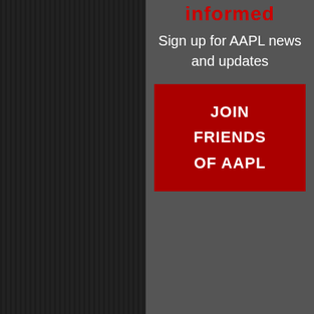Village Way N #170 Dawsonville, GA 30534 Phone: 913-888-1250 Fax: 913-888-1250 Email: contact@aaplonline.com
informed
Sign up for AAPL news and updates
JOIN FRIENDS OF AAPL
[Figure (logo): Facebook, LinkedIn, and Twitter social media icons as red circles with white logos]